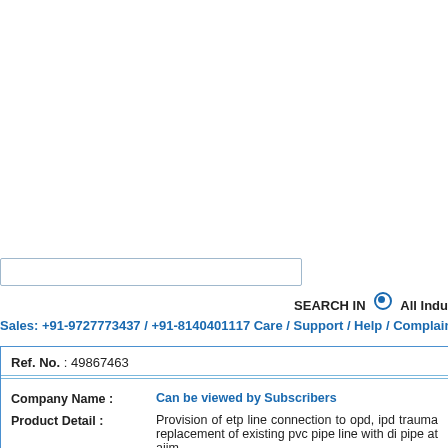[Figure (screenshot): Navigation bar with tabs: Home, Register (active), About Us, Services]
SEARCH IN  All Indu...
Sales: +91-9727773437 / +91-8140401117 Care / Support / Help / Complain : -
| Ref. No. : | 49867463 |
| Company Name : | Can be viewed by Subscribers |
| Product Detail : | Provision of etp line connection to opd, ipd trauma... replacement of existing pvc pipe line with di pipe at aiim... |
| Tender Detail : | Provision of etp line connection #*. provision of etp li... medical college building and replacement of existing pv... |
| Product Note : | To submit your bid online please visit : http://eprocure.ge... |